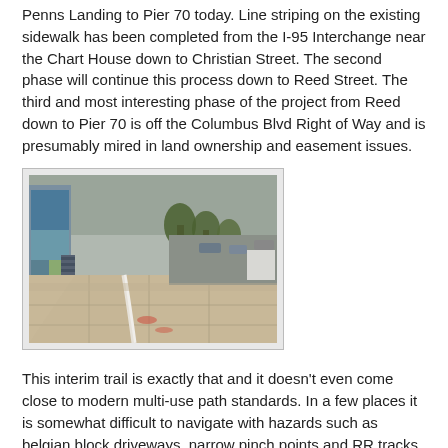Penns Landing to Pier 70 today. Line striping on the existing sidewalk has been completed from the I-95 Interchange near the Chart House down to Christian Street. The second phase will continue this process down to Reed Street. The third and most interesting phase of the project from Reed down to Pier 70 is off the Columbus Blvd Right of Way and is presumably mired in land ownership and easement issues.
[Figure (photo): A wet sidewalk/multi-use path along Columbus Blvd with a white stripe line painted on the concrete, trees and a colorful mural wall visible on the left, parking lot to the right.]
This interim trail is exactly that and it doesn't even come close to modern multi-use path standards. In a few places it is somewhat difficult to navigate with hazards such as belgian block driveways, narrow pinch points and RR tracks.